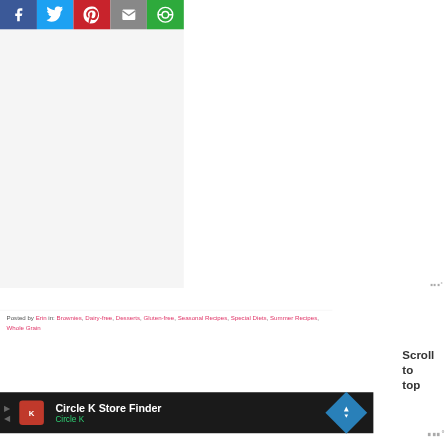[Figure (screenshot): Social media sharing bar with Facebook (blue), Twitter (light blue), Pinterest (red), Email (gray), and Mightyshare/Mixi (green) buttons]
[Figure (screenshot): Large white/light gray content area, likely an embedded video or image placeholder]
Posted by Erin in: Brownies, Dairy-free, Desserts, Gluten-free, Seasonal Recipes, Special Diets, Summer Recipes, Whole Grain
[Figure (screenshot): Circle K Store Finder advertisement banner at bottom of page]